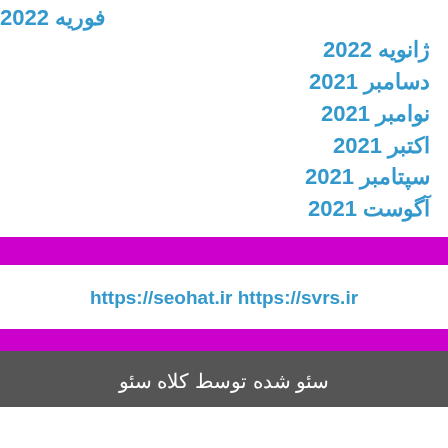فوریه 2022
ژانویه 2022
دسامبر 2021
نوامبر 2021
اکتبر 2021
سپتامبر 2021
آگوست 2021
https://svrs.ir https://seohat.ir
سئو شده توسط کلاه سئو